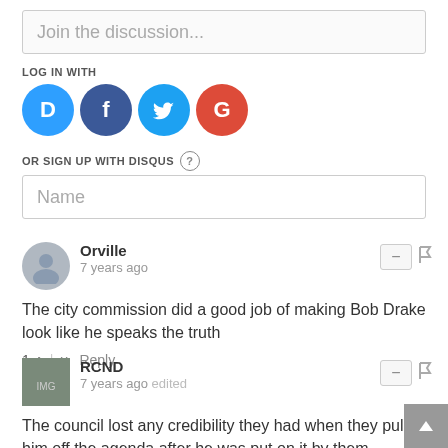Join the discussion...
LOG IN WITH
[Figure (infographic): Social login icons: Disqus (blue), Facebook (dark blue), Twitter (light blue), Google (red)]
OR SIGN UP WITH DISQUS ?
Name
Orville
7 years ago
The city commission did a good job of making Bob Drake look like he speaks the truth
1 ^ | v Reply
RCND
7 years ago edited
The council lost any credibility they had when they pulled him off the agenda after he was put on it by them.